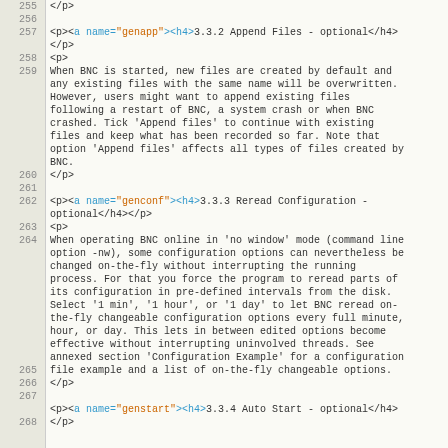Source code / HTML document view showing lines 255-267 with XML/HTML markup content about BNC configuration options including Append Files and Reread Configuration sections.